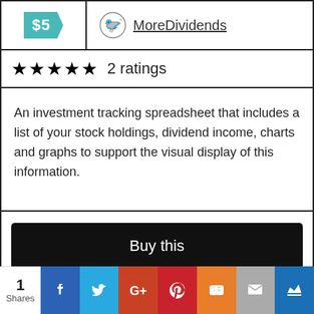[Figure (other): Price tag showing $5 in teal color with arrow/chevron shape]
MoreDividends
★★★★★ 2 ratings
An investment tracking spreadsheet that includes a list of your stock holdings, dividend income, charts and graphs to support the visual display of this information.
Buy this
Size   52 KB
1 Shares